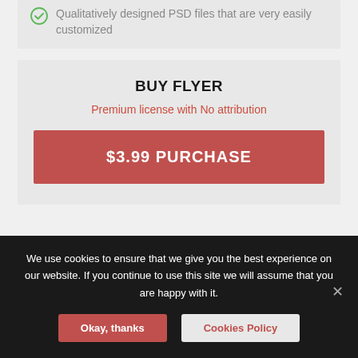Qualitatively designed PSD files that are very easily customized
BUY FLYER
Premium license with No attribution
$3.99 PURCHASE
RATE THIS PRODUCT
We use cookies to ensure that we give you the best experience on our website. If you continue to use this site we will assume that you are happy with it.
Okay, thanks
Cookies Policy